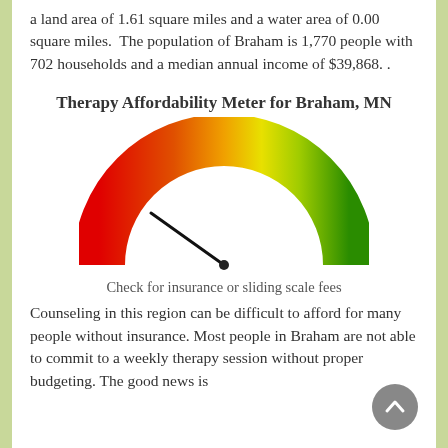a land area of 1.61 square miles and a water area of 0.00 square miles.  The population of Braham is 1,770 people with 702 households and a median annual income of $39,868. .
Therapy Affordability Meter for Braham, MN
[Figure (infographic): A semicircular gauge/meter graphic showing affordability level. The gauge arc is colored red on the left, transitioning through orange and yellow to green on the right. A needle points to the lower-left area (around the red-orange range), indicating low affordability.]
Check for insurance or sliding scale fees
Counseling in this region can be difficult to afford for many people without insurance. Most people in Braham are not able to commit to a weekly therapy session without proper budgeting. The good news is